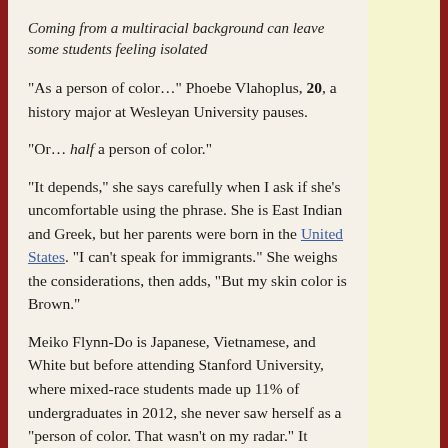Coming from a multiracial background can leave some students feeling isolated
“As a person of color…” Phoebe Vlahoplus, 20, a history major at Wesleyan University pauses.
“Or… half a person of color.”
“It depends,” she says carefully when I ask if she’s uncomfortable using the phrase. She is East Indian and Greek, but her parents were born in the United States. “I can’t speak for immigrants.” She weighs the considerations, then adds, “But my skin color is Brown.”
Meiko Flynn-Do is Japanese, Vietnamese, and White but before attending Stanford University, where mixed-race students made up 11% of undergraduates in 2012, she never saw herself as a “person of color. That wasn’t on my radar.” It wasn’t until college that she started “wrestling with those things. Ethnic studies classes kind of opened up those questions for me.”